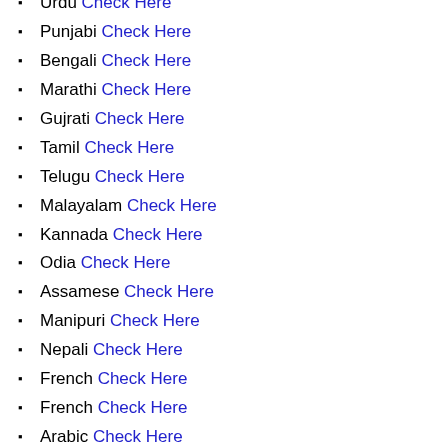Urdu Check Here
Punjabi Check Here
Bengali Check Here
Marathi Check Here
Gujrati Check Here
Tamil Check Here
Telugu Check Here
Malayalam Check Here
Kannada Check Here
Odia Check Here
Assamese Check Here
Manipuri Check Here
Nepali Check Here
French Check Here
French Check Here
Arabic Check Here
Lencha Check Here